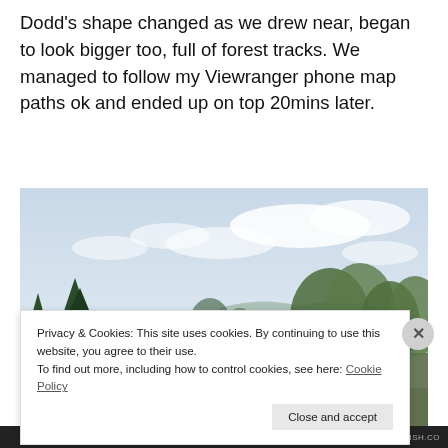Dodd's shape changed as we drew near, began to look bigger too, full of forest tracks. We managed to follow my Viewranger phone map paths ok and ended up on top 20mins later.
[Figure (photo): Outdoor forest/hillside scene with tall conifer trees on the left, deciduous trees on the right, a path or track visible in the middle distance, hills in the background, and a partly cloudy sky. A small green sign is visible on the left side of the path.]
Privacy & Cookies: This site uses cookies. By continuing to use this website, you agree to their use.
To find out more, including how to control cookies, see here: Cookie Policy
Close and accept